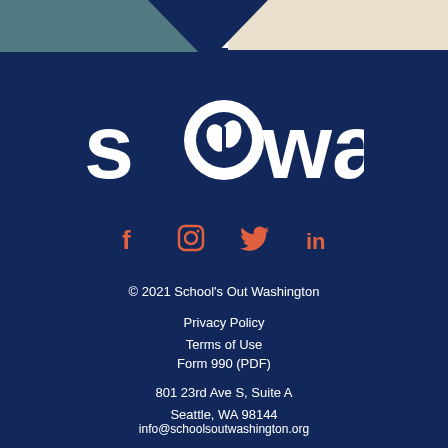[Figure (logo): SOWA (School's Out Washington) logo in white on dark navy background]
[Figure (infographic): Social media icons: Facebook (f), Instagram (camera), Twitter (bird), LinkedIn (in) in salmon/orange color]
© 2021 School's Out Washington
Privacy Policy
Terms of Use
Form 990 (PDF)
801 23rd Ave S, Suite A
Seattle, WA 98144
info@schoolsoutwashington.org